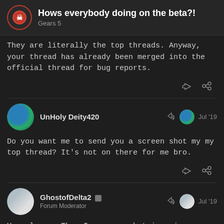Hows everybody doing on the beta?! — Gears 5
They are literally the top threads. Anyway, your thread has already been merged into the official thread for bug reports.
UnHoly Deity420 — Jul '19
Do you want me to send you a screen shot my my top thread? It's not on there for me bro.
GhostofDelta2 — Forum Moderator — Jul '19
Yes please. Then I can see what is going wrong

Edit: Hit the Latest tab.
17 / 34